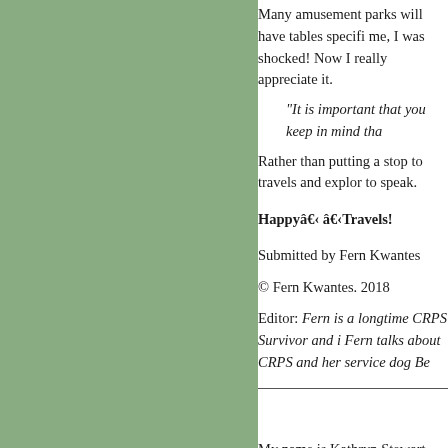Many amusement parks will have tables specifi me, I was shocked! Now I really appreciate it.
“It is important that you keep in mind tha
Rather than putting a stop to travels and explor to speak.
Happy… …Travels!
Submitted by Fern Kwantes
© Fern Kwantes. 2018
Editor: Fern is a longtime CRPS Survivor and i Fern talks about CRPS and her service dog Be
My name is Kathryn Stewart and I live
I was in the Canadian Armed Forces